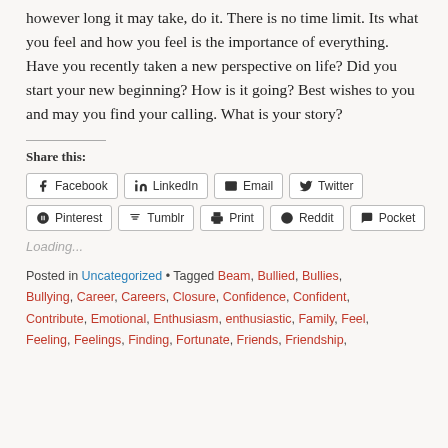however long it may take, do it. There is no time limit. Its what you feel and how you feel is the importance of everything. Have you recently taken a new perspective on life? Did you start your new beginning? How is it going? Best wishes to you and may you find your calling. What is your story?
Share this:
Facebook LinkedIn Email Twitter Pinterest Tumblr Print Reddit Pocket
Loading...
Posted in Uncategorized • Tagged Beam, Bullied, Bullies, Bullying, Career, Careers, Closure, Confidence, Confident, Contribute, Emotional, Enthusiasm, enthusiastic, Family, Feel, Feeling, Feelings, Finding, Fortunate, Friends, Friendship,